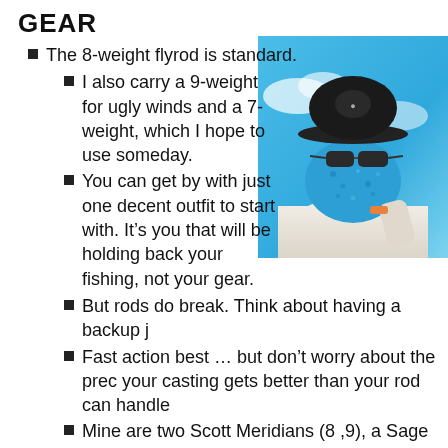GEAR
The 8-weight flyrod is standard.
I also carry a 9-weight for ugly winds and a 7-weight, which I hope to use someday.
You can get by with just one decent outfit to start with. It’s you that will be holding back your fishing, not your gear.
[Figure (photo): Person wearing a blue face covering, hat with logo, and sunglasses against a blue sky background]
But rods do break. Think about having a backup j
Fast action best … but don’t worry about the prec your casting gets better than your rod can handle
Mine are two Scott Meridians (8 ,9), a Sage Motiv 3D (7). All fantastic rods.
Reels: any decent saltwater reel sized to the rod is fine beauties to fish with. Large arbors are best.
I have Nautilus, Waterworks-Lamson, Galvan, an